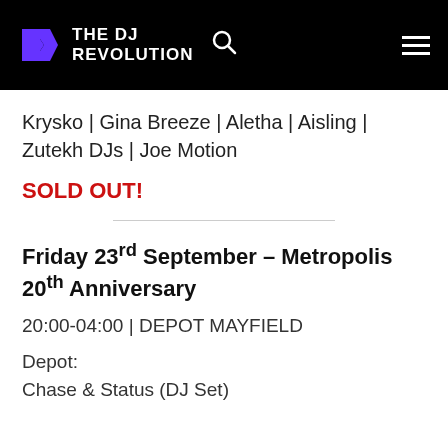THE DJ REVOLUTION
Krysko | Gina Breeze | Aletha | Aisling | Zutekh DJs | Joe Motion
SOLD OUT!
Friday 23rd September – Metropolis 20th Anniversary
20:00-04:00 | DEPOT MAYFIELD
Depot:
Chase & Status (DJ Set)